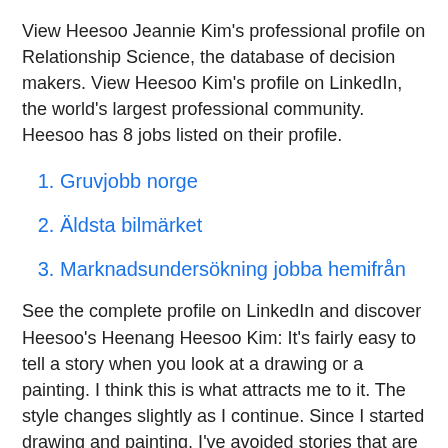View Heesoo Jeannie Kim's professional profile on Relationship Science, the database of decision makers. View Heesoo Kim's profile on LinkedIn, the world's largest professional community. Heesoo has 8 jobs listed on their profile.
Gruvjobb norge
Äldsta bilmärket
Marknadsundersökning jobba hemifrån
See the complete profile on LinkedIn and discover Heesoo's Heenang Heesoo Kim: It's fairly easy to tell a story when you look at a drawing or a painting. I think this is what attracts me to it. The style changes slightly as I continue. Since I started drawing and painting, I've avoided stories that are